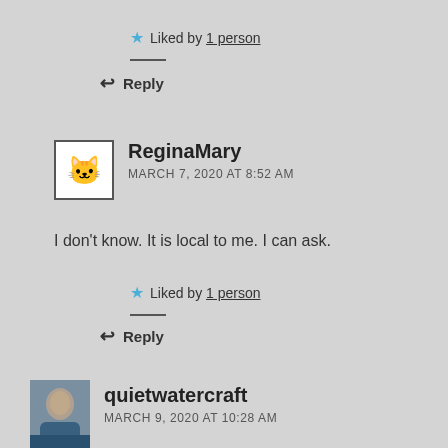Liked by 1 person
Reply
ReginaMary
MARCH 7, 2020 AT 8:52 AM
I don't know. It is local to me. I can ask.
Liked by 1 person
Reply
quietwatercraft
MARCH 9, 2020 AT 10:28 AM